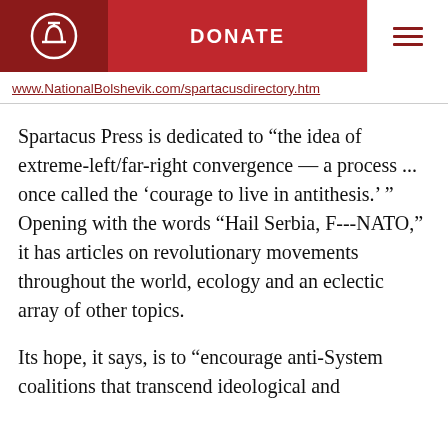DONATE
www.NationalBolshevik.com/spartacusdirectory.htm
Spartacus Press is dedicated to “the idea of extreme-left/far-right convergence — a process ... once called the ‘courage to live in antithesis.’ ” Opening with the words “Hail Serbia, F---NATO,” it has articles on revolutionary movements throughout the world, ecology and an eclectic array of other topics.
Its hope, it says, is to “encourage anti-System coalitions that transcend ideological and